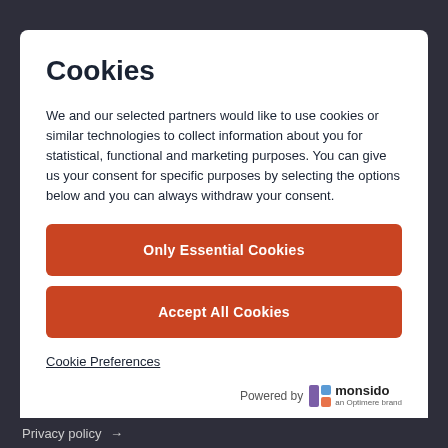Cookies
We and our selected partners would like to use cookies or similar technologies to collect information about you for statistical, functional and marketing purposes. You can give us your consent for specific purposes by selecting the options below and you can always withdraw your consent.
Only Essential Cookies
Accept All Cookies
Cookie Preferences
Powered by monsido an Optimere brand
Privacy policy →